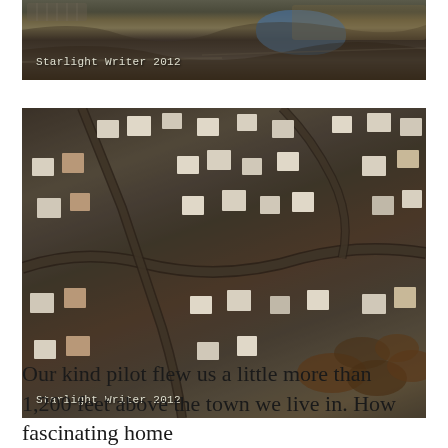[Figure (photo): Aerial photograph of suburban landscape with a pond visible, taken from approximately 1,200 feet. Watermark reads 'Starlight Writer 2012'.]
[Figure (photo): Aerial photograph of a suburban neighborhood showing houses, streets, and trees from approximately 1,200 feet altitude. Watermark reads 'Starlight Writer 2012'.]
Our kind pilot flew us a little more than 1,200 feet above the town we live in. How fascinating home